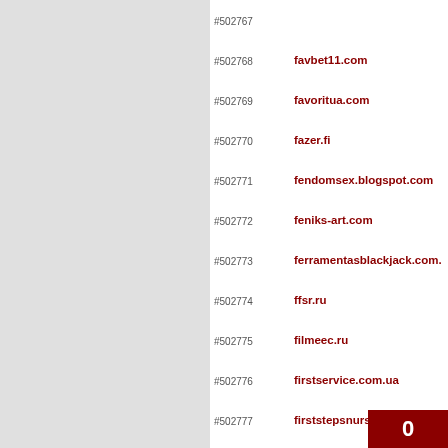#502767
#502768  favbet11.com
#502769  favoritua.com
#502770  fazer.fi
#502771  fendomsex.blogspot.com
#502772  feniks-art.com
#502773  ferramentasblackjack.com.
#502774  ffsr.ru
#502775  filmeec.ru
#502776  firstservice.com.ua
#502777  firststepsnurseryschool.c
#502778  fisch.wiki
#502779  fitoprodukt.net